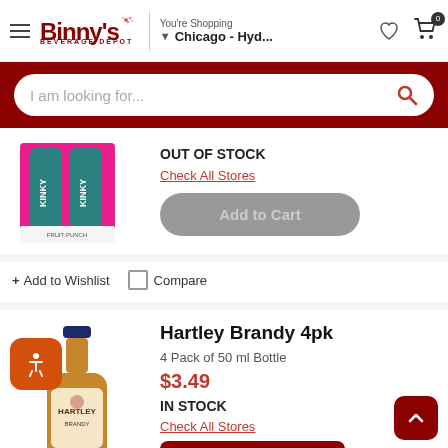Binny's Beverage Depot - You're Shopping - Chicago - Hyd...
I am looking for...
OUT OF STOCK
Check All Stores
Add to Cart
+ Add to Wishlist
Compare
Hartley Brandy 4pk
4 Pack of 50 ml Bottle
$3.49
IN STOCK
Check All Stores
Add to Cart